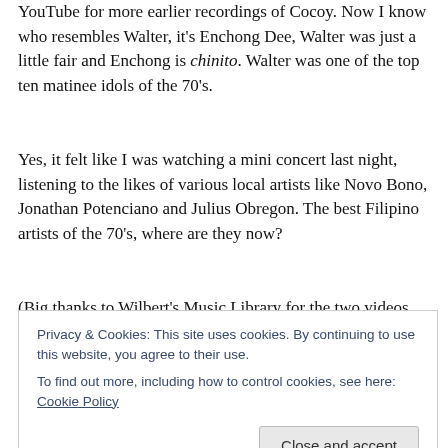YouTube for more earlier recordings of Cocoy.  Now I know who resembles Walter, it's Enchong Dee, Walter was just a little fair and Enchong is chinito.  Walter was one of the top ten matinee idols of the 70's.
Yes, it felt like I was watching a mini concert last night, listening to the likes of various local artists like Novo Bono, Jonathan Potenciano and Julius Obregon.  The best Filipino artists of the 70's, where are they now?
(Big thanks to Wilbert's Music Library for the two videos uploaded here and to Cocoy's Facebook account for the
Privacy & Cookies: This site uses cookies. By continuing to use this website, you agree to their use.
To find out more, including how to control cookies, see here: Cookie Policy